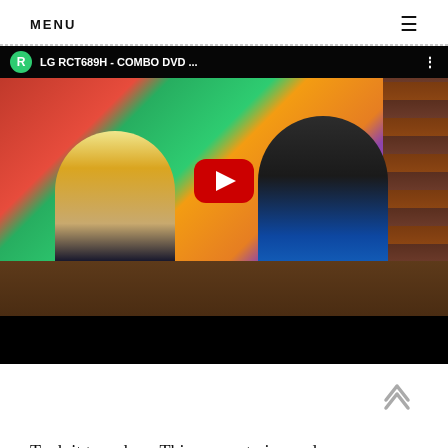MENU
[Figure (screenshot): YouTube video thumbnail showing LG RCT689H - COMBO DVD ... with a scene of two people in front of a TV, with a red YouTube play button overlay in the center]
Took it to a shop. This warranty is good only to the original purchaser of the